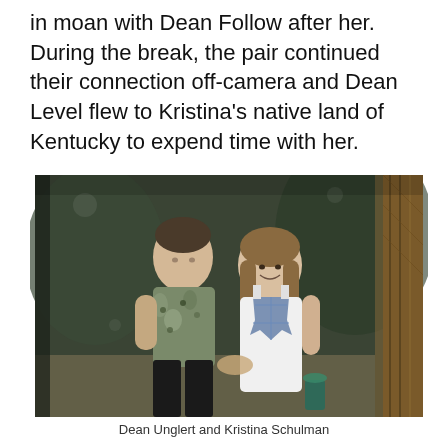in moan with Dean Follow after her. During the break, the pair continued their connection off-camera and Dean Level flew to Kristina's native land of Kentucky to expend time with her.
[Figure (photo): A young man in a floral shirt and a young woman in a white and blue dress sitting together and smiling at each other in an outdoor setting.]
Dean Unglert and Kristina Schulman